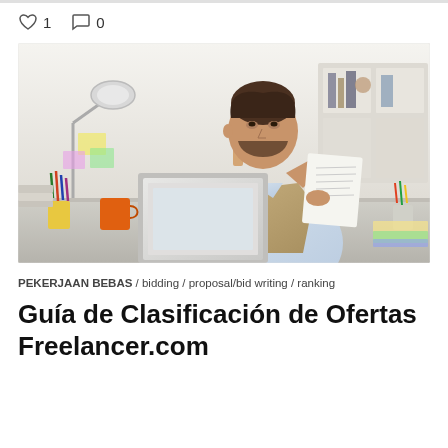1  0
[Figure (photo): Man sitting at a desk with a laptop, reading a document/paper, with office supplies and a lamp visible in a bright workspace.]
PEKERJAAN BEBAS / bidding / proposal/bid writing / ranking
Guía de Clasificación de Ofertas Freelancer.com